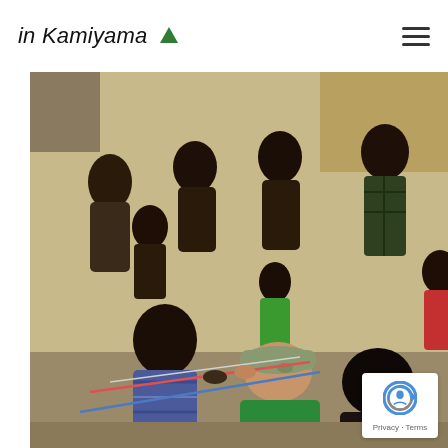in Kamiyama ▲
[Figure (photo): Outdoor scene with a group of African children and adults watching a Japanese person in a cap demonstrating string-craft or a skill, with thatched roofs in the background. Community interaction scene.]
Privacy · Terms